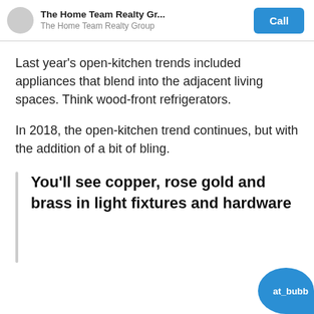The Home Team Realty Gr...
The Home Team Realty Group
Last year's open-kitchen trends included appliances that blend into the adjacent living spaces. Think wood-front refrigerators.
In 2018, the open-kitchen trend continues, but with the addition of a bit of bling.
You'll see copper, rose gold and brass in light fixtures and hardware